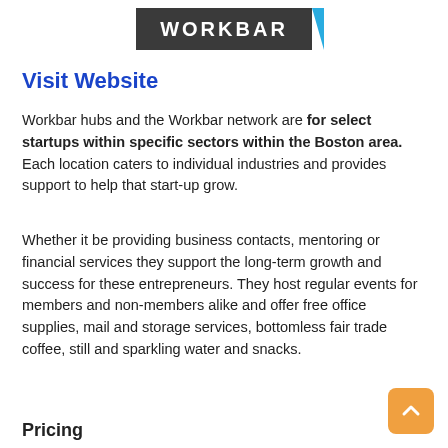[Figure (logo): Workbar logo — dark gray banner with white WORKBAR text and a blue triangular accent]
Visit Website
Workbar hubs and the Workbar network are for select startups within specific sectors within the Boston area. Each location caters to individual industries and provides support to help that start-up grow.
Whether it be providing business contacts, mentoring or financial services they support the long-term growth and success for these entrepreneurs. They host regular events for members and non-members alike and offer free office supplies, mail and storage services, bottomless fair trade coffee, still and sparkling water and snacks.
Pricing